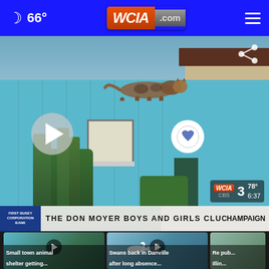☽ 66° | WCIA.com | ☰
[Figure (screenshot): WCIA news broadcast screenshot showing a blue animal shelter building with a cat mural. Lower ticker reads 'THE DON MOYER BOYS AND GIRLS CLU CHAMPAIGN'. WCIA CBS 3 watermark shows 78° 6:37. Play button overlay visible.]
Small town animal shelter getting...
Swans back in Danville...
Re pub... Illin...